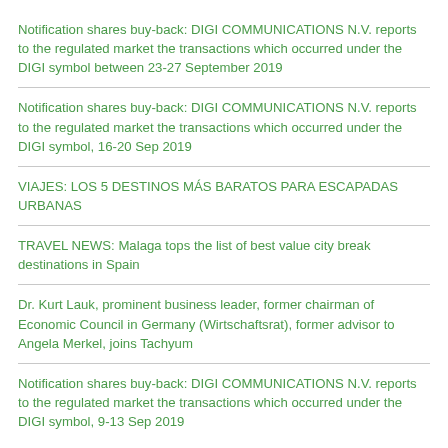Notification shares buy-back: DIGI COMMUNICATIONS N.V. reports to the regulated market the transactions which occurred under the DIGI symbol between 23-27 September 2019
Notification shares buy-back: DIGI COMMUNICATIONS N.V. reports to the regulated market the transactions which occurred under the DIGI symbol, 16-20 Sep 2019
VIAJES: LOS 5 DESTINOS MÁS BARATOS PARA ESCAPADAS URBANAS
TRAVEL NEWS: Malaga tops the list of best value city break destinations in Spain
Dr. Kurt Lauk, prominent business leader, former chairman of Economic Council in Germany (Wirtschaftsrat), former advisor to Angela Merkel, joins Tachyum
Notification shares buy-back: DIGI COMMUNICATIONS N.V. reports to the regulated market the transactions which occurred under the DIGI symbol, 9-13 Sep 2019